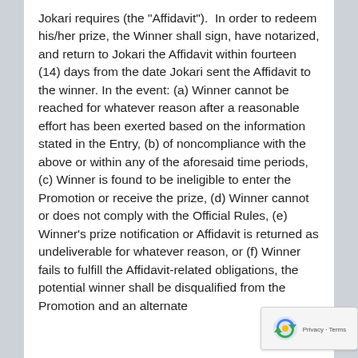Jokari requires (the "Affidavit").  In order to redeem his/her prize, the Winner shall sign, have notarized, and return to Jokari the Affidavit within fourteen (14) days from the date Jokari sent the Affidavit to the winner. In the event: (a) Winner cannot be reached for whatever reason after a reasonable effort has been exerted based on the information stated in the Entry, (b) of noncompliance with the above or within any of the aforesaid time periods, (c) Winner is found to be ineligible to enter the Promotion or receive the prize, (d) Winner cannot or does not comply with the Official Rules, (e) Winner's prize notification or Affidavit is returned as undeliverable for whatever reason, or (f) Winner fails to fulfill the Affidavit-related obligations, the potential winner shall be disqualified from the Promotion and an alternate
[Figure (logo): reCAPTCHA badge with Privacy and Terms links]